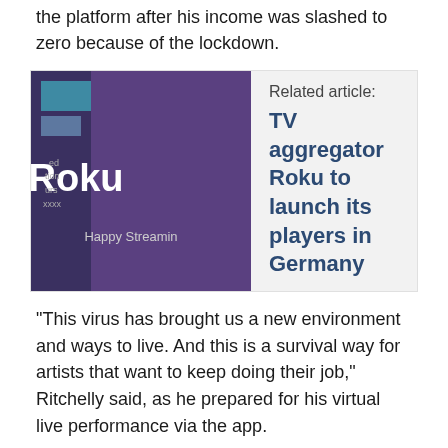the platform after his income was slashed to zero because of the lockdown.
[Figure (photo): Photo of a Roku device with purple branding and 'Happy Streaming' text visible]
Related article:
TV aggregator Roku to launch its players in Germany
“This virus has brought us a new environment and ways to live. And this is a survival way for artists that want to keep doing their job,” Ritchelly said, as he prepared for his virtual live performance via the app.
Fans, stuck indoors, are happy to pay between $2-$6 per hour depending on the performer, to see their favourite artists.
“It gives me a better experience because I’m alone. I don’t